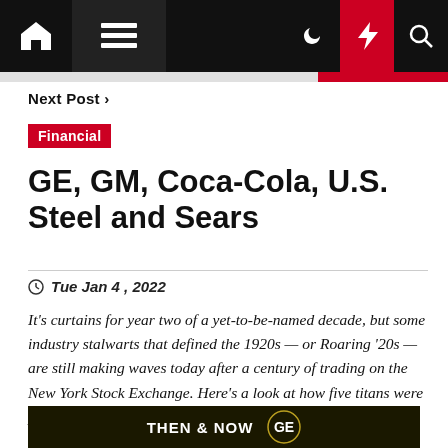Navigation bar with home, menu, dark mode, flash, search icons
Next Post »
Financial
GE, GM, Coca-Cola, U.S. Steel and Sears
Tue Jan 4 , 2022
It's curtains for year two of a yet-to-be-named decade, but some industry stalwarts that defined the 1920s — or Roaring '20s — are still making waves today after a century of trading on the New York Stock Exchange.  Here's a look at how five titans were performing then and now.  [...]
[Figure (other): Dark banner image with text 'THEN & NOW' and GE logo]